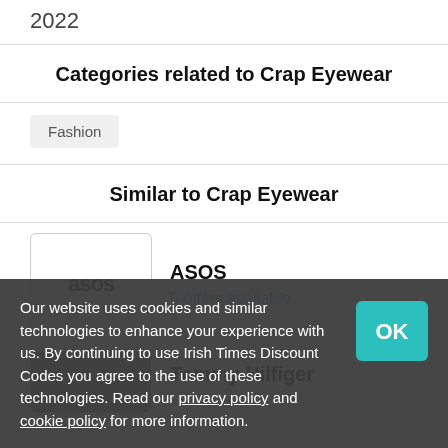2022
Categories related to Crap Eyewear
Fashion
Similar to Crap Eyewear
ASOS
5 offers available
Tommy Hilfiger
Our website uses cookies and similar technologies to enhance your experience with us. By continuing to use Irish Times Discount Codes you agree to the use of these technologies. Read our privacy policy and cookie policy for more information.